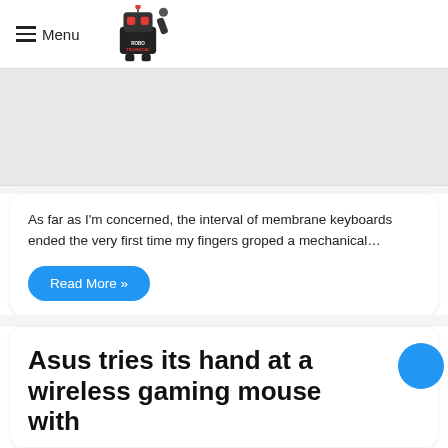Menu | Robo Technical
[Figure (photo): Gray banner placeholder area]
As far as I'm concerned, the interval of membrane keyboards ended the very first time my fingers groped a mechanical…
Read More »
Asus tries its hand at a wireless gaming mouse with